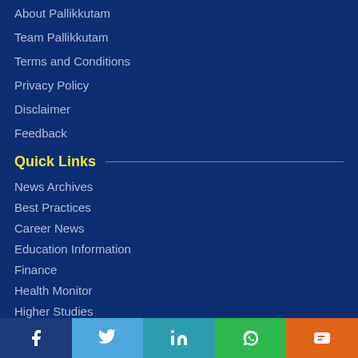About Pallikkutam
Team Pallikkutam
Terms and Conditions
Privacy Policy
Disclaimer
Feedback
Quick Links
News Archives
Best Practices
Career News
Education Information
Finance
Health Monitor
Higher Studies
Social share bar: Facebook, Twitter, LinkedIn, WhatsApp, Blogger